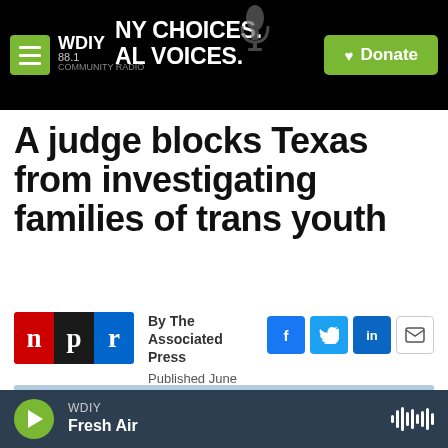WDIY 88.1 | NY CHOICES. AL VOICES. | Donate
A judge blocks Texas from investigating families of trans youth
By The Associated Press
Published June 10, 2022 at 7:49 PM EDT
[Figure (photo): Partial view of outdoor scene with trees and colorful banners or flags]
WDIY | Fresh Air